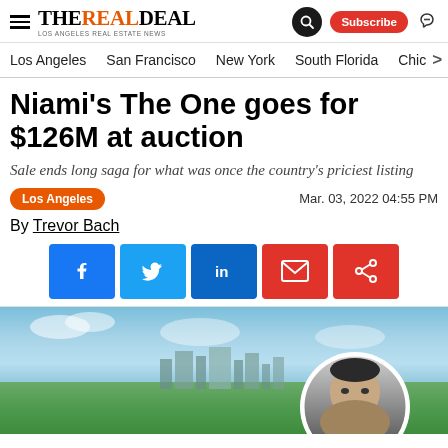THE REAL DEAL — LOS ANGELES REAL ESTATE NEWS
Los Angeles  San Francisco  New York  South Florida  Chic
Niami's The One goes for $126M at auction
Sale ends long saga for what was once the country's priciest listing
Los Angeles   Mar. 03, 2022 04:55 PM
By Trevor Bach
[Figure (infographic): Social share buttons: Facebook, Twitter, LinkedIn, Email, Share]
[Figure (photo): Aerial view of Los Angeles cityscape with a circular portrait of a man (Nile Niami) overlaid in the bottom right]